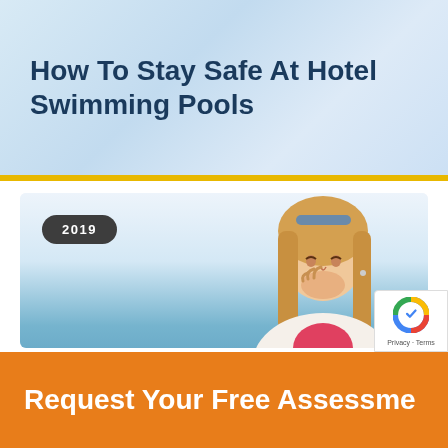How To Stay Safe At Hotel Swimming Pools
[Figure (photo): Woman with blonde hair coughing or covering mouth with hand, standing outdoors with blue sky background, with a 2019 date badge overlay]
Should I Make A Holiday Illness Claim?
Request Your Free Assessment
[Figure (logo): reCAPTCHA badge with Privacy · Terms text]